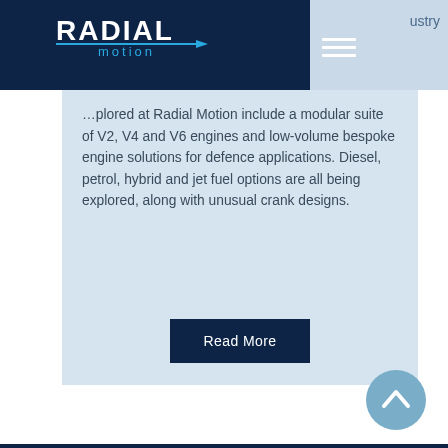Radial Motion — Industry
…plored at Radial Motion include a modular suite of V2, V4 and V6 engines and low-volume bespoke engine solutions for defence applications. Diesel, petrol, hybrid and jet fuel options are all being explored, along with unusual crank designs.
Read More
[Figure (illustration): Scroll-to-top chevron button, circular light blue background with white upward-pointing chevron]